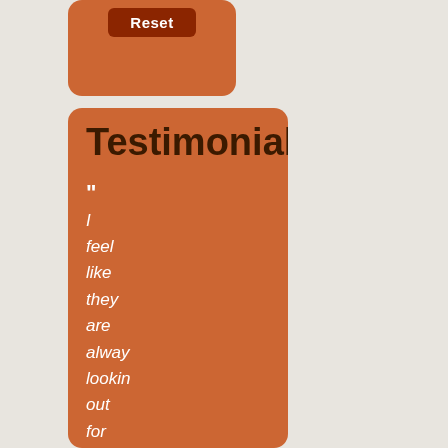[Figure (screenshot): Orange rounded card with a dark red Reset button at the top]
Testimonials
" I feel like they are always looking out for my best intere They run a tight ship and